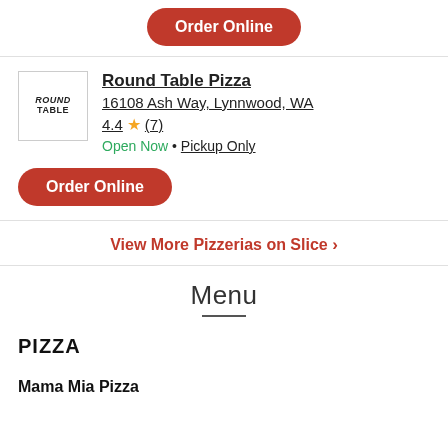Order Online
Round Table Pizza
16108 Ash Way, Lynnwood, WA
4.4 ★ (7)
Open Now • Pickup Only
Order Online
View More Pizzerias on Slice >
Menu
PIZZA
Mama Mia Pizza